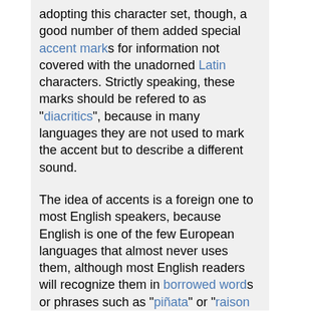adopting this character set, though, a good number of them added special accent marks for information not covered with the unadorned Latin characters. Strictly speaking, these marks should be refered to as "diacritics", because in many languages they are not used to mark the accent but to describe a different sound.
The idea of accents is a foreign one to most English speakers, because English is one of the few European languages that almost never uses them, although most English readers will recognize them in borrowed words or phrases such as "piñata" or "raison